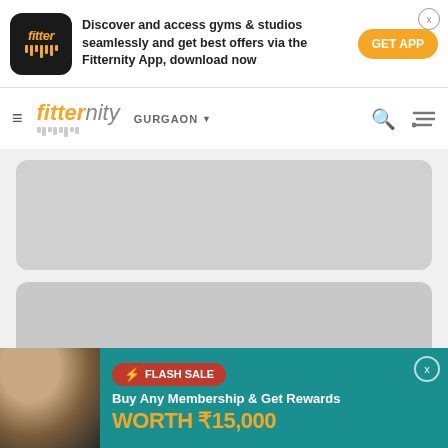[Figure (screenshot): Fitternity app download banner with app icon, promotional text, and GET APP button]
fitternity GURGAON
[Figure (screenshot): Gray placeholder card 1 - loading content]
[Figure (screenshot): Gray placeholder card 2 - loading content]
[Figure (screenshot): Flash Sale banner - Buy Any Membership & Get Rewards WORTH ₹15,000]